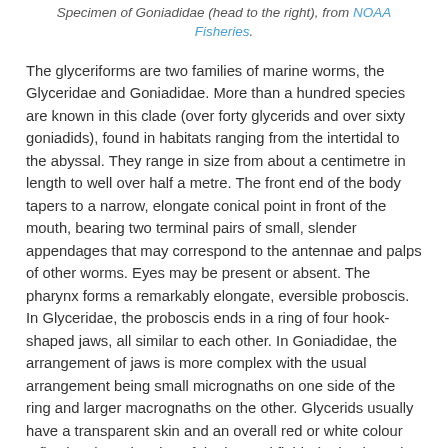Specimen of Goniadidae (head to the right), from NOAA Fisheries.
The glyceriforms are two families of marine worms, the Glyceridae and Goniadidae. More than a hundred species are known in this clade (over forty glycerids and over sixty goniadids), found in habitats ranging from the intertidal to the abyssal. They range in size from about a centimetre in length to well over half a metre. The front end of the body tapers to a narrow, elongate conical point in front of the mouth, bearing two terminal pairs of small, slender appendages that may correspond to the antennae and palps of other worms. Eyes may be present or absent. The pharynx forms a remarkably elongate, eversible proboscis. In Glyceridae, the proboscis ends in a ring of four hook-shaped jaws, all similar to each other. In Goniadidae, the arrangement of jaws is more complex with the usual arrangement being small micrognaths on one side of the ring and larger macrognaths on the other. Glycerids usually have a transparent skin and an overall red or white colour reflecting the coloration of the internal fluids (red-coloured individuals are sometimes